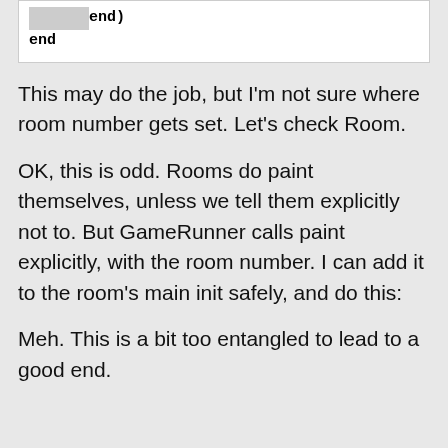[Figure (screenshot): Code snippet showing two lines: indented 'end)' and 'end' on a white background]
This may do the job, but I'm not sure where room number gets set. Let's check Room.
OK, this is odd. Rooms do paint themselves, unless we tell them explicitly not to. But GameRunner calls paint explicitly, with the room number. I can add it to the room's main init safely, and do this:
Meh. This is a bit too entangled to lead to a good end.